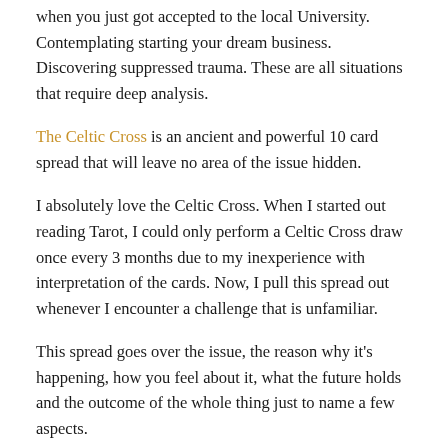when you just got accepted to the local University. Contemplating starting your dream business. Discovering suppressed trauma. These are all situations that require deep analysis.
The Celtic Cross is an ancient and powerful 10 card spread that will leave no area of the issue hidden.
I absolutely love the Celtic Cross. When I started out reading Tarot, I could only perform a Celtic Cross draw once every 3 months due to my inexperience with interpretation of the cards. Now, I pull this spread out whenever I encounter a challenge that is unfamiliar.
This spread goes over the issue, the reason why it's happening, how you feel about it, what the future holds and the outcome of the whole thing just to name a few aspects.
If you have to absolutely know everything about a